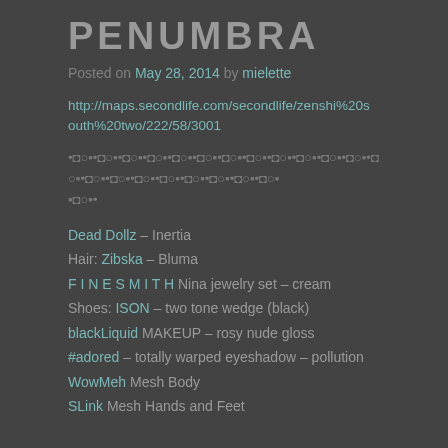PENUMBRA
Posted on May 28, 2014 by mielette
http://maps.secondlife.com/secondlife/zenshi%20south%20two/222/58/3001
•◘○▪•◘○▪•◘○▪•◘○▪•◘○▪•◘○▪•◘○▪•◘○▪•◘○▪•◘○▪•◘○▪•◘○▪•◘○▪•◘○▪•◘○▪•◘○▪•◘○▪•◘○▪•◘○▪•◘○▪•◘○▪•◘○▪•◘○•◘○▪
Dead Dollz – Inertia
Hair: Zibska – Bluma
F I N E S M I T H Nina jewelry set – cream
Shoes: ISON – two tone wedge (black)
blackLiquid MAKEUP – rosy nude gloss
#adored – totally warped eyeshadow – pollution
WowMeh Mesh Body
SLink Mesh Hands and Feet